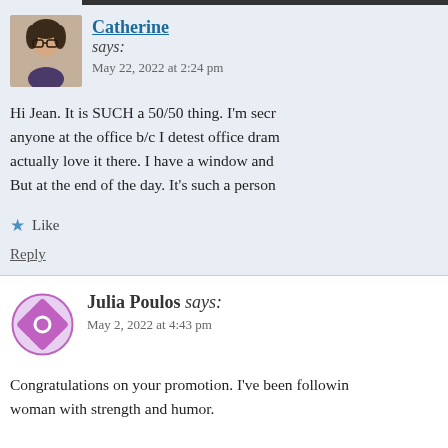Catherine says: May 22, 2022 at 2:24 pm
Hi Jean. It is SUCH a 50/50 thing. I'm secr... anyone at the office b/c I detest office dram... actually love it there. I have a window and ... But at the end of the day. It's such a person...
Like
Reply
Julia Poulos says: May 2, 2022 at 4:43 pm
Congratulations on your promotion. I've been followin... woman with strength and humor.